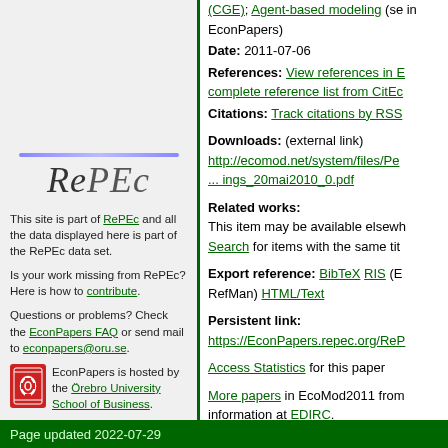(CGE); Agent-based modeling (se in EconPapers)
Date: 2011-07-06
References: View references in E complete reference list from CitEc
Citations: Track citations by RSS
Downloads: (external link) http://ecomod.net/system/files/Pe ... ings_20mai2010_0.pdf
Related works: This item may be available elsewh Search for items with the same tit
Export reference: BibTeX RIS (B RefMan) HTML/Text
Persistent link: https://EconPapers.repec.org/ReP
Access Statistics for this paper
More papers in EcoMod2011 from information at EDIRC. Bibliographic data for series maintained by (theresa.leary@ecomod.net).
[Figure (logo): RePEc logo in italic serif font with blue underline]
This site is part of RePEc and all the data displayed here is part of the RePEc data set.
Is your work missing from RePEc? Here is how to contribute.
Questions or problems? Check the EconPapers FAQ or send mail to econpapers@oru.se.
EconPapers is hosted by the Örebro University School of Business.
Page updated 2022-07-29